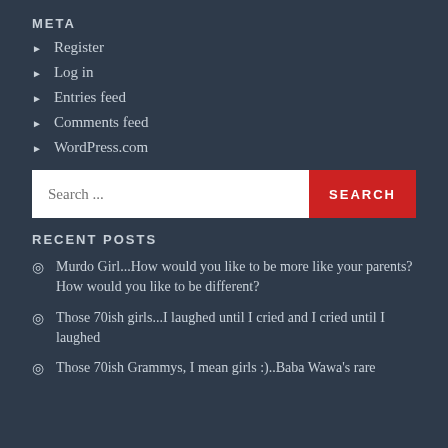META
Register
Log in
Entries feed
Comments feed
WordPress.com
Search ...
RECENT POSTS
Murdo Girl...How would you like to be more like your parents? How would you like to be different?
Those 70ish girls...I laughed until I cried and I cried until I laughed
Those 70ish Grammys, I mean girls :)..Baba Wawa's rare